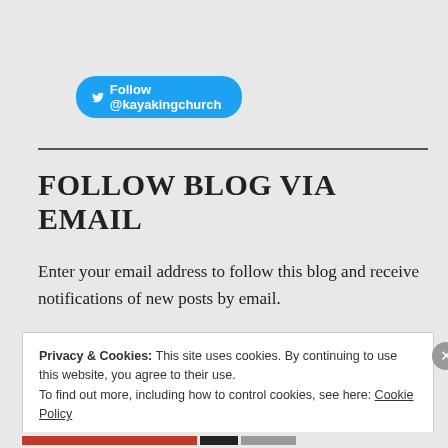[Figure (other): Twitter Follow button with bird icon, text: Follow @kayakingchurch]
FOLLOW BLOG VIA EMAIL
Enter your email address to follow this blog and receive notifications of new posts by email.
Privacy & Cookies: This site uses cookies. By continuing to use this website, you agree to their use.
To find out more, including how to control cookies, see here: Cookie Policy
Close and accept